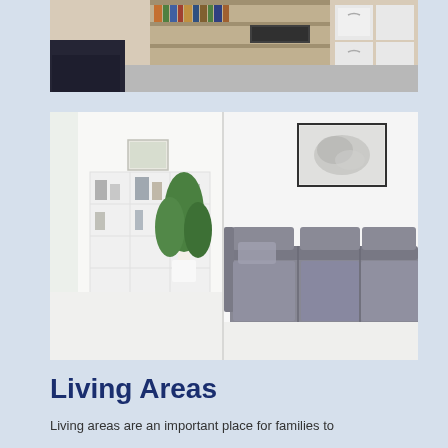[Figure (photo): Interior room photo showing a living area with bookshelves, storage units with white boxes, and a dark armchair with a patterned pillow on the left side. Photographed from a wide angle showing gray flooring.]
[Figure (photo): Two-panel composite photo of modern living rooms. Left panel shows a minimalist white room with large white shelving unit, plants including a fiddle-leaf fig, and a glass coffee table. Right panel shows a white room with a gray sectional sofa, a framed abstract artwork on the wall, and a white fluffy rug on the floor.]
Living Areas
Living areas are an important place for families to